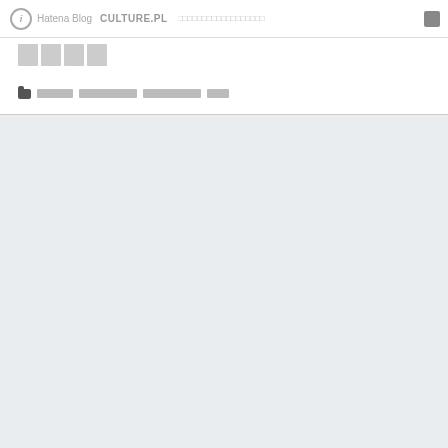Hatena Blog  CULTURE.PL  [nav links]  [search icon]
□□□□
□□□□□  □□□□□□□□  □□□□□□□□  □□□
[Figure (screenshot): Light gray content background area below a dividing line]